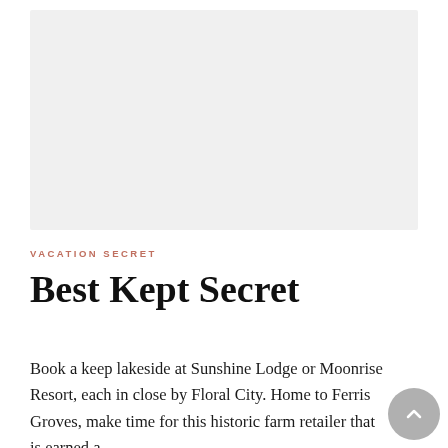[Figure (photo): Light gray placeholder image rectangle at the top of the page]
VACATION SECRET
Best Kept Secret
Book a keep lakeside at Sunshine Lodge or Moonrise Resort, each in close by Floral City. Home to Ferris Groves, make time for this historic farm retailer that is earned a